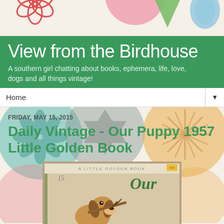[Figure (illustration): Decorative top banner with colorful floral and nature shapes (flower outline in coral/red, pink circle segment, green triangle/leaf, blue bird shape) on a cream/off-white background]
View from the Birdhouse
A southern girl chatting about books, ephemera, life, love, dogs and all things vintage!
Home ▼
[Figure (illustration): Decorative background with large overlapping circle segments in teal, gray, orange/amber, pink/salmon and white with floral/botanical patterns inside them on cream background]
FRIDAY, MAY 15, 2015
Daily Vintage - Our Puppy 1957 Little Golden Book
[Figure (photo): A Little Golden Book cover for 'Our Puppy' (1957) showing an illustrated puppy/basset hound puppy holding a stick in its mouth, with colorful title text 'Our Puppy' in red, green and other colors on the cover]